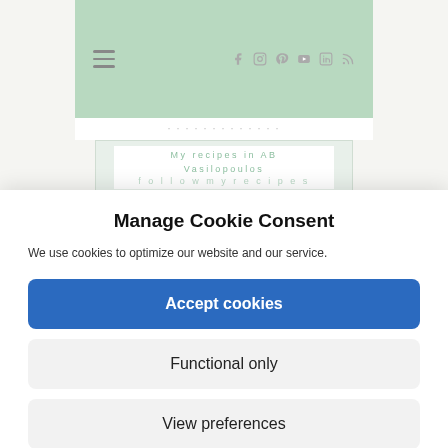[Figure (screenshot): Website navigation bar with hamburger menu on left and social media icons (Facebook, Instagram, Pinterest, YouTube, LinkedIn, RSS) on right, on a sage green background. Below is a white bar with faded uppercase text and a content card showing recipe text in light green.]
Manage Cookie Consent
We use cookies to optimize our website and our service.
Accept cookies
Functional only
View preferences